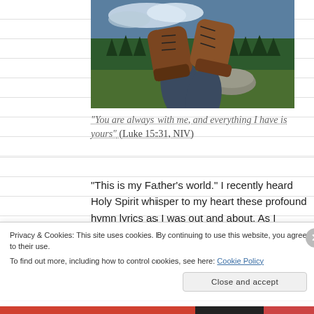[Figure (photo): Person lying on grass in a mountain meadow with brown hiking boots raised up, forest and cloudy sky in background]
“You are always with me, and everything I have is yours” (Luke 15:31, NIV)
“This is my Father’s world.” I recently heard Holy Spirit whisper to my heart these profound hymn lyrics as I was out and about. As I
Privacy & Cookies: This site uses cookies. By continuing to use this website, you agree to their use.
To find out more, including how to control cookies, see here: Cookie Policy
Close and accept